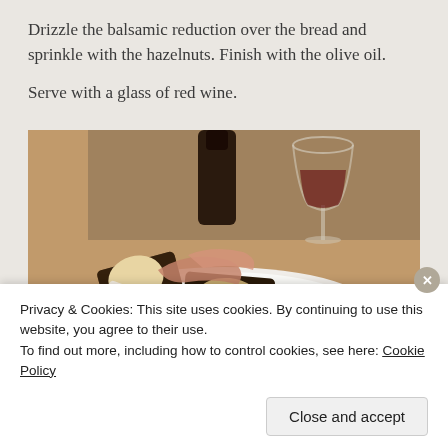Drizzle the balsamic reduction over the bread and sprinkle with the hazelnuts. Finish with the olive oil.
Serve with a glass of red wine.
[Figure (photo): Food photo showing toasted bread with melted cheese, balsamic drizzle, hazelnuts and cured meat on a white plate, with a glass of red wine in the background on a wooden table.]
Privacy & Cookies: This site uses cookies. By continuing to use this website, you agree to their use.
To find out more, including how to control cookies, see here: Cookie Policy
Close and accept